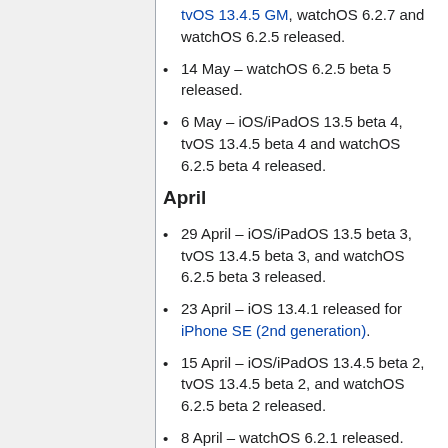tvOS 13.4.5 GM, watchOS 6.2.7 and watchOS 6.2.5 released.
14 May – watchOS 6.2.5 beta 5 released.
6 May – iOS/iPadOS 13.5 beta 4, tvOS 13.4.5 beta 4 and watchOS 6.2.5 beta 4 released.
April
29 April – iOS/iPadOS 13.5 beta 3, tvOS 13.4.5 beta 3, and watchOS 6.2.5 beta 3 released.
23 April – iOS 13.4.1 released for iPhone SE (2nd generation).
15 April – iOS/iPadOS 13.4.5 beta 2, tvOS 13.4.5 beta 2, and watchOS 6.2.5 beta 2 released.
8 April – watchOS 6.2.1 released.
7 April – iOS/iPadOS 13.4.1 released.